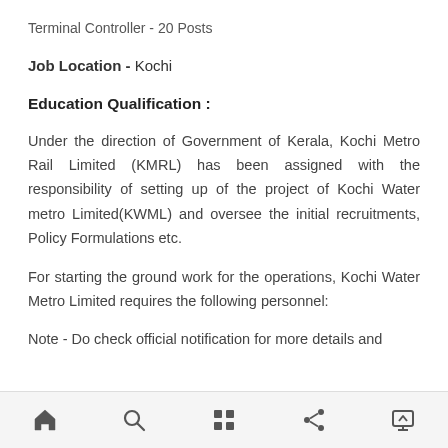Terminal Controller - 20 Posts
Job Location - Kochi
Education Qualification :
Under the direction of Government of Kerala, Kochi Metro Rail Limited (KMRL) has been assigned with the responsibility of setting up of the project of Kochi Water metro Limited(KWML) and oversee the initial recruitments, Policy Formulations etc.
For starting the ground work for the operations, Kochi Water Metro Limited requires the following personnel:
Note - Do check official notification for more details and
Navigation bar with home, search, grid, share, and scroll-up icons